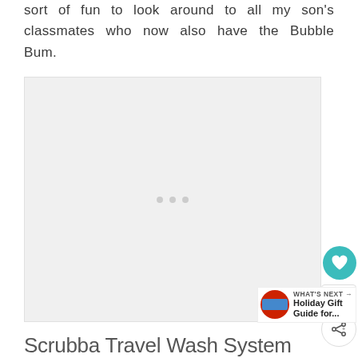sort of fun to look around to all my son's classmates who now also have the Bubble Bum.
[Figure (photo): Large placeholder image with three grey dots in the center, social interaction buttons on the right (heart icon, count '1', share icon), and a 'WHAT'S NEXT' promo for 'Holiday Gift Guide for...' in the bottom right corner.]
Scrubba Travel Wash System